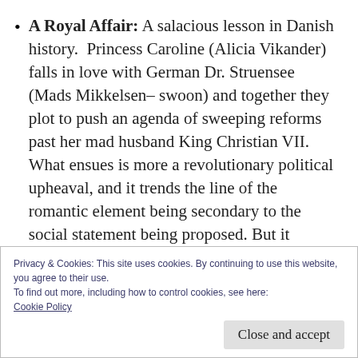A Royal Affair: A salacious lesson in Danish history.  Princess Caroline (Alicia Vikander) falls in love with German Dr. Struensee (Mads Mikkelsen– swoon) and together they plot to push an agenda of sweeping reforms past her mad husband King Christian VII.  What ensues is more a revolutionary political upheaval, and it trends the line of the romantic element being secondary to the social statement being proposed. But it
Privacy & Cookies: This site uses cookies. By continuing to use this website, you agree to their use.
To find out more, including how to control cookies, see here:
Cookie Policy
Close and accept